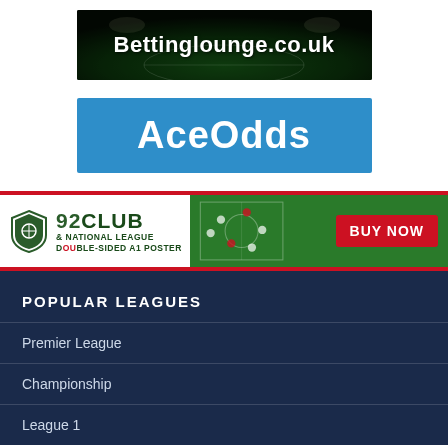[Figure (logo): Bettinglounge.co.uk banner with football stadium background]
[Figure (logo): AceOdds banner with blue background]
[Figure (logo): 92Club and National League Double-Sided A1 Poster advertisement banner with Buy Now button]
POPULAR LEAGUES
Premier League
Championship
League 1